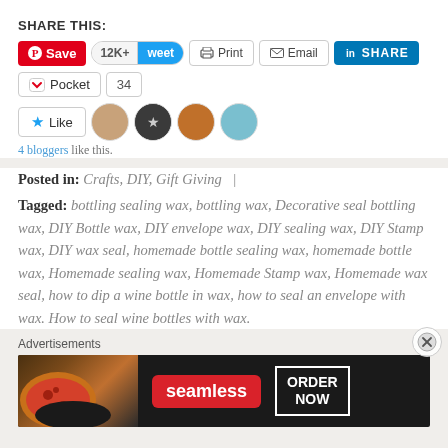SHARE THIS:
[Figure (screenshot): Social share buttons row: Pinterest Save, 12K+ Tweet, Print, Email, LinkedIn SHARE]
[Figure (screenshot): Pocket button with count 34]
[Figure (screenshot): Like button with star icon and 4 blogger avatars]
4 bloggers like this.
Posted in: Crafts, DIY, Gift Giving  |
Tagged: bottling sealing wax, bottling wax, Decorative seal bottling wax, DIY Bottle wax, DIY envelope wax, DIY sealing wax, DIY Stamp wax, DIY wax seal, homemade bottle sealing wax, homemade bottle wax, Homemade sealing wax, Homemade Stamp wax, Homemade wax seal, how to dip a wine bottle in wax, how to seal an envelope with wax. How to seal wine bottles with wax.
Advertisements
[Figure (screenshot): Seamless food delivery advertisement banner with pizza image, Seamless red logo, ORDER NOW button]